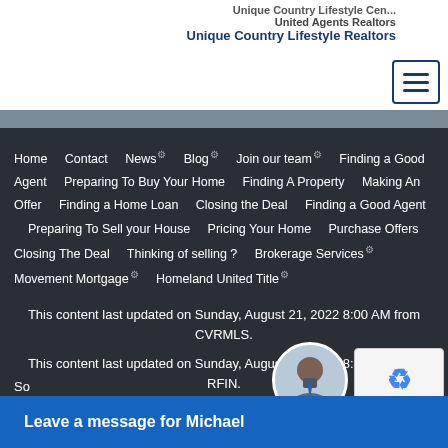Unique Country Lifestyle Realtors
Home   Contact   News   Blog   Join our team   Finding a Good Agent   Preparing To Buy Your Home   Finding A Property   Making An Offer   Finding a Home Loan   Closing the Deal   Finding a Good Agent   Preparing To Sell your House   Pricing Your Home   Purchase Offers   Closing The Deal   Thinking of selling ?   Brokerage Services   Movement Mortgage   Homeland United Title
This content last updated on Sunday, August 21, 2022 8:00 AM from CVRMLS.
This content last updated on Sunday, August 21, 2022 8:00 AM from RFIN.
So
Leave a message for Michael